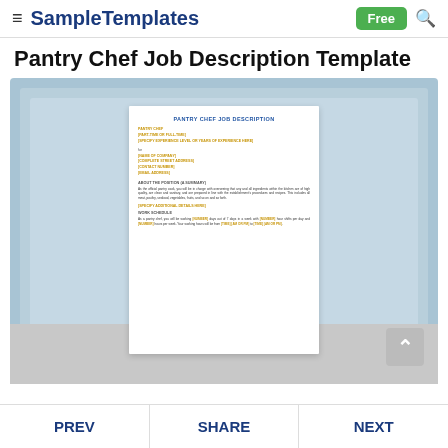SampleTemplates — Free
Pantry Chef Job Description Template
[Figure (screenshot): Preview of a Pantry Chef Job Description Template document showing the title 'PANTRY CHEF JOB DESCRIPTION', placeholder fields in gold/yellow for job title, company name, address, contact info, and body text sections including 'ABOUT THE POSITION (A SUMMARY)' and 'WORK SCHEDULE', displayed against a light blue layered background.]
PREV    SHARE    NEXT